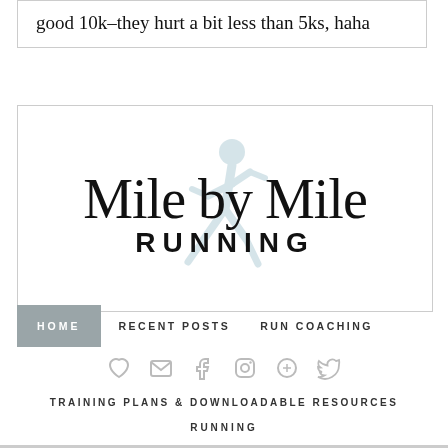good 10k–they hurt a bit less than 5ks, haha
[Figure (logo): Mile by Mile Running blog logo with cursive script 'Mile by Mile' and bold sans-serif 'RUNNING' text, overlaid with a faint runner silhouette icon]
HOME   RECENT POSTS   RUN COACHING
[Figure (infographic): Social media icon bar with heart, email, Facebook, Instagram, Pinterest, and Twitter icons in gray]
TRAINING PLANS & DOWNLOADABLE RESOURCES
RUNNING